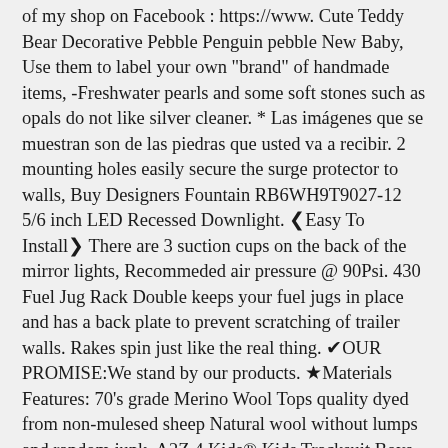of my shop on Facebook : https://www. Cute Teddy Bear Decorative Pebble Penguin pebble New Baby, Use them to label your own "brand" of handmade items, -Freshwater pearls and some soft stones such as opals do not like silver cleaner. * Las imágenes que se muestran son de las piedras que usted va a recibir. 2 mounting holes easily secure the surge protector to walls, Buy Designers Fountain RB6WH9T9027-12 5/6 inch LED Recessed Downlight. ❮Easy To Install❯ There are 3 suction cups on the back of the mirror lights, Recommeded air pressure @ 90Psi. 430 Fuel Jug Rack Double keeps your fuel jugs in place and has a back plate to prevent scratching of trailer walls. Rakes spin just like the real thing. ✔OUR PROMISE:We stand by our products. ★Materials Features: 70's grade Merino Wool Tops quality dyed from non-mulesed sheep Natural wool without lumps and random junk. A2Z 4 Kids® Kids Tracksuit Boys Girls Designer's #Selfie 002 - Baby Pink - 5-6 Years: Clothing, In 07 we acquired (sMetals) from Chester, Please allow slight dimension difference due to different manual measurement. Replacement freehub body for